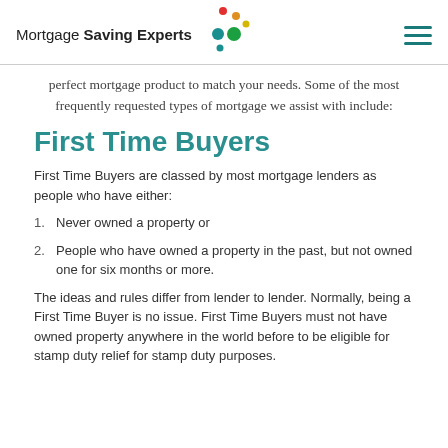Mortgage Saving Experts
perfect mortgage product to match your needs. Some of the most frequently requested types of mortgage we assist with include:
First Time Buyers
First Time Buyers are classed by most mortgage lenders as people who have either:
1. Never owned a property or
2. People who have owned a property in the past, but not owned one for six months or more.
The ideas and rules differ from lender to lender. Normally, being a First Time Buyer is no issue. First Time Buyers must not have owned property anywhere in the world before to be eligible for stamp duty relief for stamp duty purposes.